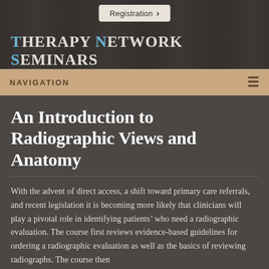[Figure (screenshot): Header banner with dark background showing a clinical/therapy setting, with site title 'Therapy Network Seminars' overlaid. A 'Registration >' button is at the top center.]
Registration >
Therapy Network Seminars
NAVIGATION
An Introduction to Radiographic Views and Anatomy
With the advent of direct access, a shift toward primary care referrals, and recent legislation it is becoming more likely that clinicians will play a pivotal role in identifying patients' who need a radiographic evaluation. The course first reviews evidence-based guidelines for ordering a radiographic evaluation as well as the basics of reviewing radiographs. The course then